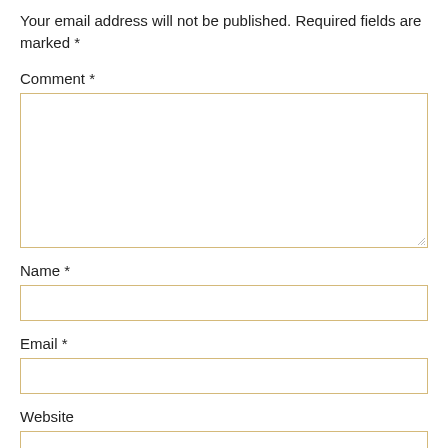Your email address will not be published. Required fields are marked *
Comment *
[Figure (other): Large empty comment textarea with resize handle in bottom-right corner]
Name *
[Figure (other): Single-line text input for Name]
Email *
[Figure (other): Single-line text input for Email]
Website
[Figure (other): Single-line text input for Website]
Save my name, email, and website in this browser for the